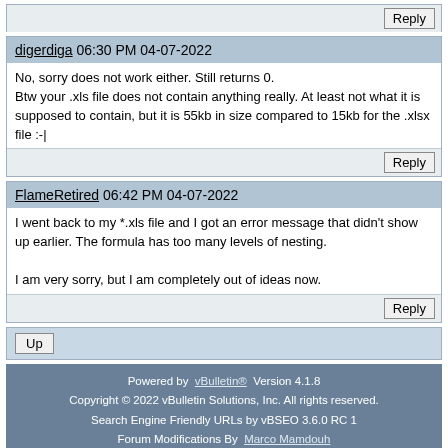Reply
digerdiga 06:30 PM 04-07-2022
No, sorry does not work either. Still returns 0.
Btw your .xls file does not contain anything really. At least not what it is supposed to contain, but it is 55kb in size compared to 15kb for the .xlsx file :-|
Reply
FlameRetired 06:42 PM 04-07-2022
I went back to my *.xls file and I got an error message that didn't show up earlier. The formula has too many levels of nesting.

I am very sorry, but I am completely out of ideas now.
Reply
Up
Powered by vBulletin® Version 4.1.8
Copyright © 2022 vBulletin Solutions, Inc. All rights reserved.
Search Engine Friendly URLs by vBSEO 3.6.0 RC 1
Forum Modifications By Marco Mamdouh
Mobile Style by Dartho... | Default Style